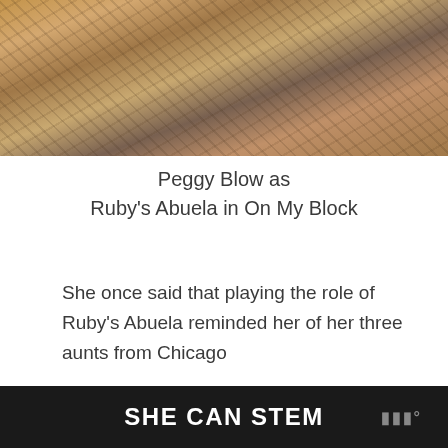[Figure (photo): Photo of Peggy Blow wearing a floral patterned top, cropped to show torso/clothing]
Peggy Blow as Ruby's Abuela in On My Block
She once said that playing the role of Ruby's Abuela reminded her of her three aunts from Chicago
SHE CAN STEM